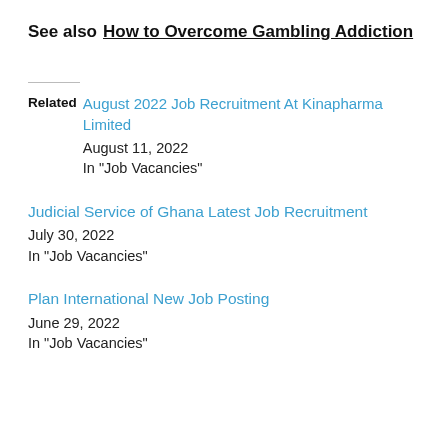See also  How to Overcome Gambling Addiction
Related August 2022 Job Recruitment At Kinapharma Limited
August 11, 2022
In "Job Vacancies"
Judicial Service of Ghana Latest Job Recruitment
July 30, 2022
In "Job Vacancies"
Plan International New Job Posting
June 29, 2022
In "Job Vacancies"